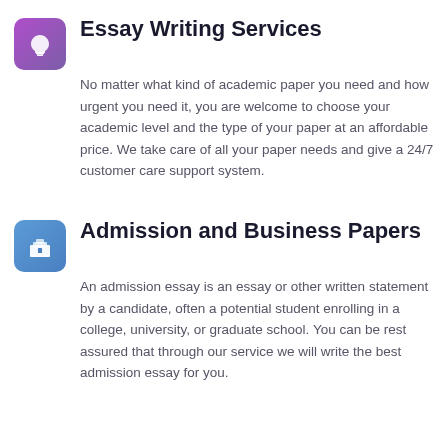Essay Writing Services
No matter what kind of academic paper you need and how urgent you need it, you are welcome to choose your academic level and the type of your paper at an affordable price. We take care of all your paper needs and give a 24/7 customer care support system.
Admission and Business Papers
An admission essay is an essay or other written statement by a candidate, often a potential student enrolling in a college, university, or graduate school. You can be rest assured that through our service we will write the best admission essay for you.